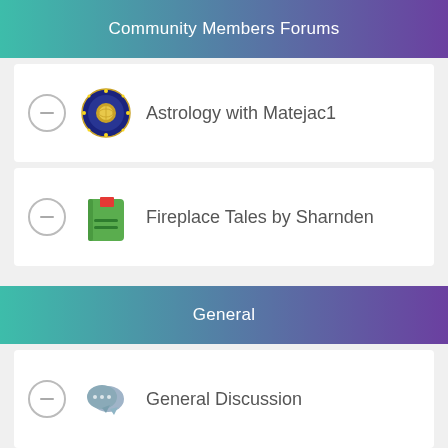Community Members Forums
Astrology with Matejac1
Fireplace Tales by Sharnden
General
General Discussion
Reviews